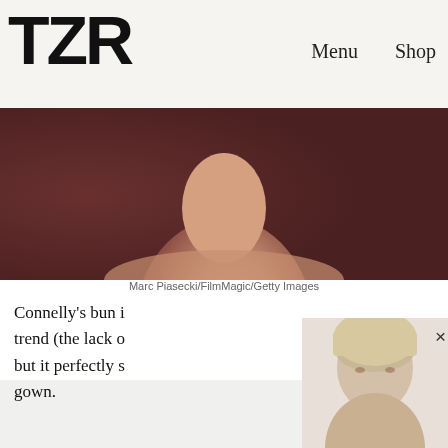TZR  Shop  Menu
[Figure (photo): Cropped photo of a person's neck and shoulders/collarbone area, warm skin tones against a dark brownish-red background]
Marc Piasecki/FilmMagic/Getty Images
Connelly's bun i... trend (the lack o... but it perfectly s... gown.
[Figure (photo): Popup modal with woman's face/hair photo thumbnail on right side]
AND THE #1 HAIRCUT FOR 2022 IS...
Join The List
Sign up for TZR's exclusive email list to uncover this season's top trends
Email address  Subscribe